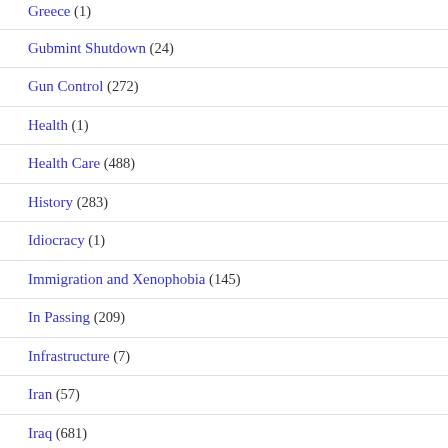Greece (1)
Gubmint Shutdown (24)
Gun Control (272)
Health (1)
Health Care (488)
History (283)
Idiocracy (1)
Immigration and Xenophobia (145)
In Passing (209)
Infrastructure (7)
Iran (57)
Iraq (681)